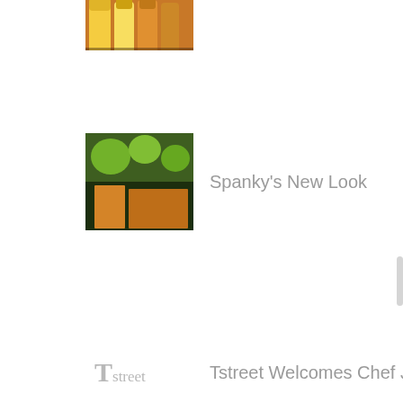(image — cropped top, drinks/yellow bottle)
Spanky's New Look
Tstreet Welcomes Chef James Do...
Shaken, Not Stirred Martini Pa...
DiningOut interviews Chef Just...